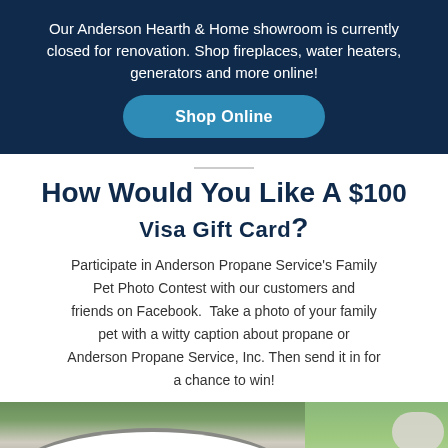Our Anderson Hearth & Home showroom is currently closed for renovation. Shop fireplaces, water heaters, generators and more online!
Shop Online
How Would You Like A $100 Visa Gift Card?
Participate in Anderson Propane Service's Family Pet Photo Contest with our customers and friends on Facebook.  Take a photo of your family pet with a witty caption about propane or Anderson Propane Service, Inc. Then send it in for a chance to win!
[Figure (photo): Photo of a pet with an arch/doorway structure and greenery visible, with handwritten-style text reading 'Dear God.' at the bottom]